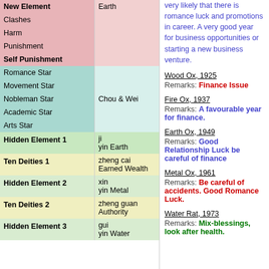| Category | Value |
| --- | --- |
| New Element | Earth |
| Clashes |  |
| Harm |  |
| Punishment |  |
| Self Punishment |  |
| Romance Star |  |
| Movement Star |  |
| Nobleman Star | Chou & Wei |
| Academic Star |  |
| Arts Star |  |
| Hidden Element 1 | ji / yin Earth |
| Ten Deities 1 | zheng cai / Earned Wealth |
| Hidden Element 2 | xin / yin Metal |
| Ten Deities 2 | zheng guan / Authority |
| Hidden Element 3 | gui / yin Water |
very likely that there is romance luck and promotions in career. A very good year for business opportunities or starting a new business venture.
Wood Ox, 1925
Remarks: Finance Issue
Fire Ox, 1937
Remarks: A favourable year for finance.
Earth Ox, 1949
Remarks: Good Relationship Luck be careful of finance
Metal Ox, 1961
Remarks: Be careful of accidents. Good Romance Luck.
Water Rat, 1973
Remarks: Mix-blessings, look after health.